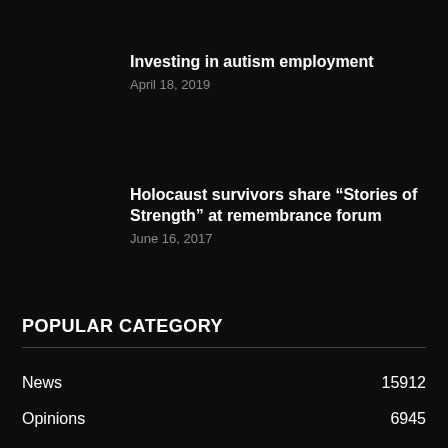Investing in autism employment
April 18, 2019
Holocaust survivors share “Stories of Strength” at remembrance forum
June 16, 2017
POPULAR CATEGORY
News 15912
Opinions 6945
Blog 4620
Legal Notices 4507